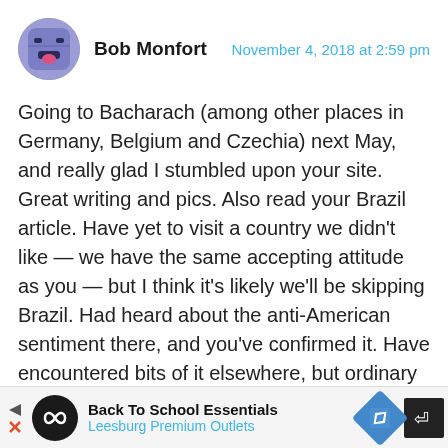[Figure (photo): Avatar icon of a cartoon face on a purple/blue square, displayed as a circular profile picture]
Bob Monfort
November 4, 2018 at 2:59 pm
Going to Bacharach (among other places in Germany, Belgium and Czechia) next May, and really glad I stumbled upon your site. Great writing and pics. Also read your Brazil article. Have yet to visit a country we didn't like — we have the same accepting attitude as you — but I think it's likely we'll be skipping Brazil. Had heard about the anti-American sentiment there, and you've confirmed it. Have encountered bits of it elsewhere, but ordinary people have mainly been exceptional. like the guy who actually got off the Paris Metro a stop early solely to point us toward the flea market we were
[Figure (infographic): Advertisement bar: Back To School Essentials, Leesburg Premium Outlets, with logo icons and navigation arrows]